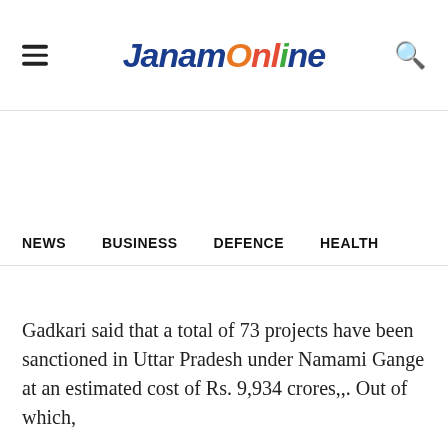JanamOnline
NEWS   BUSINESS   DEFENCE   HEALTH
Gadkari said that a total of 73 projects have been sanctioned in Uttar Pradesh under Namami Gange at an estimated cost of Rs. 9,934 crores,,. Out of which,